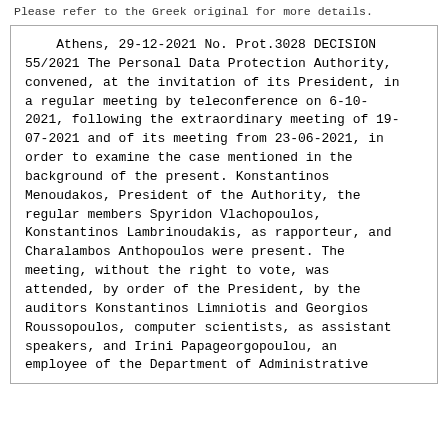Please refer to the Greek original for more details.
Athens, 29-12-2021 No. Prot.3028 DECISION 55/2021 The Personal Data Protection Authority, convened, at the invitation of its President, in a regular meeting by teleconference on 6-10-2021, following the extraordinary meeting of 19-07-2021 and of its meeting from 23-06-2021, in order to examine the case mentioned in the background of the present. Konstantinos Menoudakos, President of the Authority, the regular members Spyridon Vlachopoulos, Konstantinos Lambrinoudakis, as rapporteur, and Charalambos Anthopoulos were present. The meeting, without the right to vote, was attended, by order of the President, by the auditors Konstantinos Limniotis and Georgios Roussopoulos, computer scientists, as assistant speakers, and Irini Papageorgopoulou, an employee of the Department of Administrative